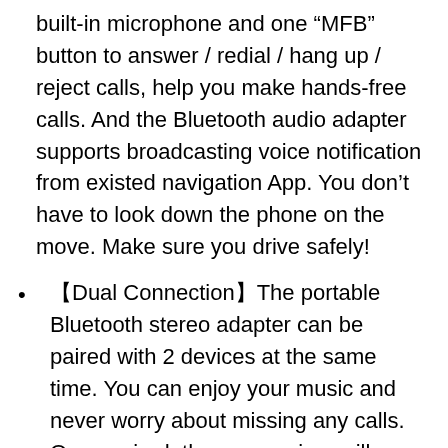built-in microphone and one “MFB” button to answer / redial / hang up / reject calls, help you make hands-free calls. And the Bluetooth audio adapter supports broadcasting voice notification from existed navigation App. You don’t have to look down the phone on the move. Make sure you drive safely!
【Dual Connection】The portable Bluetooth stereo adapter can be paired with 2 devices at the same time. You can enjoy your music and never worry about missing any calls. Once paired, the car receiver will automatically reconnect to your last paired Bluetooth devices, as long as they are within the